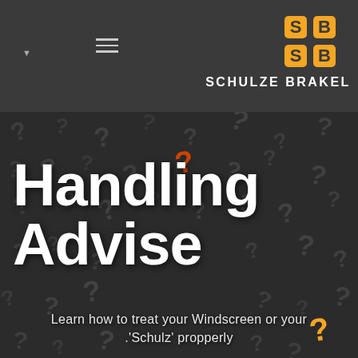SCHULZE BRAKEL
[Figure (logo): Schulze Brakel SB logo in orange on dark grey header background with hamburger menu icon and dropdown arrow]
Handling Advise
[Figure (photo): Dark background covered with 3D question mark characters in grey/black, with one highlighted in orange/red, serving as hero image background]
Learn how to treat your Windscreen or your .'Schulz' propperly